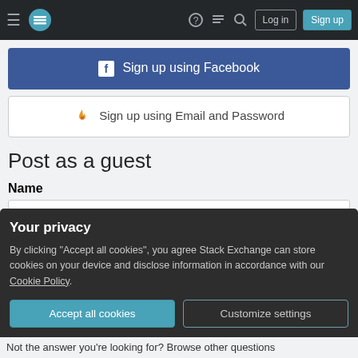Stack Exchange navigation bar with hamburger menu, logo, help, chat, search icons, Log in and Sign up buttons
[Figure (screenshot): Sign up using Facebook button (blue)]
[Figure (screenshot): Sign up using Email and Password button (white with Stack Overflow flame icon)]
Post as a guest
Name
Email
Required, but never shown
Your privacy
By clicking "Accept all cookies", you agree Stack Exchange can store cookies on your device and disclose information in accordance with our Cookie Policy.
Accept all cookies
Customize settings
Not the answer you're looking for? Browse other questions